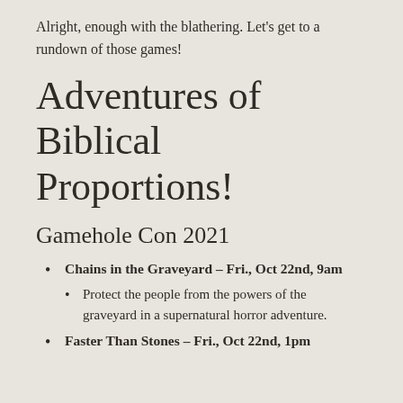Alright, enough with the blathering. Let's get to a rundown of those games!
Adventures of Biblical Proportions!
Gamehole Con 2021
Chains in the Graveyard – Fri., Oct 22nd, 9am
Protect the people from the powers of the graveyard in a supernatural horror adventure.
Faster Than Stones – Fri., Oct 22nd, 1pm